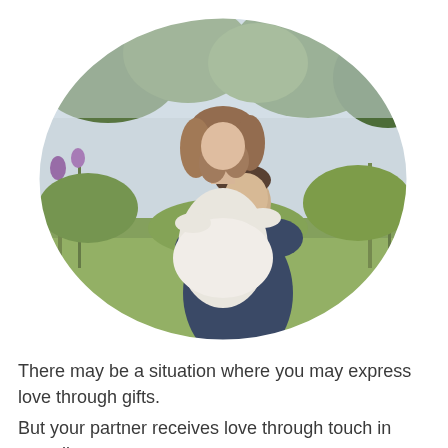[Figure (photo): A couple embracing outdoors in a wildflower meadow. A woman in a white off-shoulder top is lifted by a man in a dark suit jacket. They are face to face, smiling. The image is displayed in a leaf/eye-shaped (vesica piscis) frame with rounded borders on left and right, set against a lush green background with trees.]
There may be a situation where you may express love through gifts.
But your partner receives love through touch in actuality.